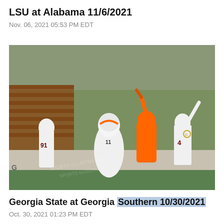LSU at Alabama 11/6/2021
Nov. 06, 2021 05:53 PM EDT
[Figure (photo): Football players in white Virginia Tech uniforms celebrating on the sideline, with a player in an orange jacket clapping in the background, during a college football game.]
Georgia State at Georgia Southern 10/30/2021
Oct. 30, 2021 01:23 PM EDT